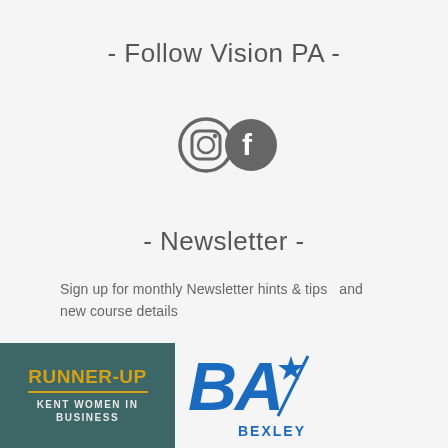- Follow Vision PA -
[Figure (illustration): Instagram and Facebook social media icons side by side, grey outlined circle icons]
- Newsletter -
Sign up for monthly Newsletter hints & tips  and new course details
[Figure (logo): Runner-Up Kent Women in Business badge on dark teal background with gold text, and Bexley BA logo with blue lettering and star]
[Figure (logo): BA Bexley logo with blue stylized text and star graphic]